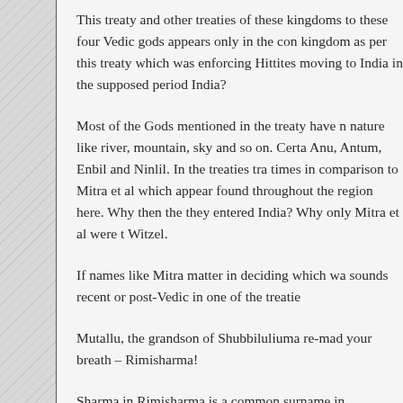This treaty and other treaties of these kingdoms to these four Vedic gods appears only in the con kingdom as per this treaty which was enforcing Hittites moving to India in the supposed period India?
Most of the Gods mentioned in the treaty have n nature like river, mountain, sky and so on. Certa Anu, Antum, Enbil and Ninlil. In the treaties tra times in comparison to Mitra et al which appear found throughout the region here. Why then the they entered India? Why only Mitra et al were t Witzel.
If names like Mitra matter in deciding which wa sounds recent or post-Vedic in one of the treatie
Mutallu, the grandson of Shubbiluliuma re-mad your breath – Rimisharma!
Sharma in Rimisharma is a common surname in interpreted to mean teacher or a chanter. This na